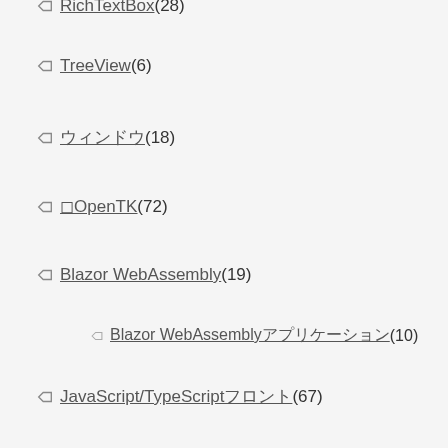RichTextBox (28)
TreeView (6)
ウィンドウ (18)
◻OpenTK (72)
Blazor WebAssembly (19)
Blazor WebAssemblyアプリケーション (10)
JavaScript/TypeScriptフロント (67)
Node.js・WebAPIバックエンド (14)
WebAPIとのデータのやり取り (5)
ファイルの読み書き (3)
PHP (21)
Laravelフレームワーク (4)
データベースとのやり取り (11)
ふぁんだ (14)